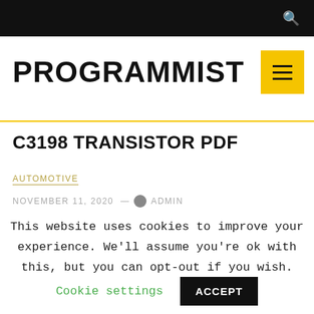PROGRAMMIST
C3198 TRANSISTOR PDF
AUTOMOTIVE
NOVEMBER 11, 2020 — ADMIN
This website uses cookies to improve your experience. We'll assume you're ok with this, but you can opt-out if you wish.
Cookie settings   ACCEPT